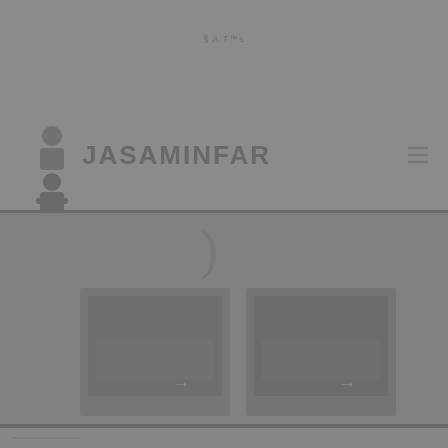[Figure (screenshot): Website screenshot showing JASAMINFAR logo with navigation bar and menu icon, followed by a dark section with large numeral and image cards below]